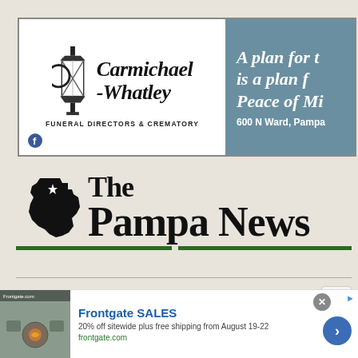[Figure (illustration): Carmichael-Whatley Funeral Directors & Crematory advertisement banner with logo on white left side and text on blue-grey right side reading 'A plan for t[omorrow] is a plan f[or] Peace of Mi[nd]' and '600 N Ward, Pampa']
[Figure (logo): The Pampa News logo with Texas state silhouette and serif text]
MAIN MENU
[Figure (infographic): Frontgate SALES advertisement: '20% off sitewide plus free shipping from August 19-22' with frontgate.com URL and outdoor furniture image]